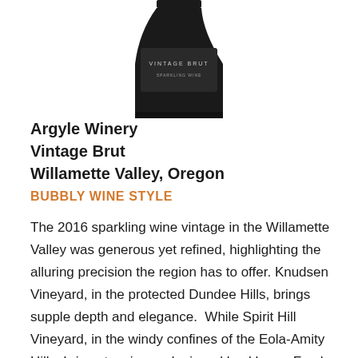[Figure (photo): Bottom portion of a dark wine bottle with label reading 'VINTAGE BRUT SPARKLING WINE' on a white background]
Argyle Winery
Vintage Brut
Willamette Valley, Oregon
BUBBLY WINE STYLE
The 2016 sparkling wine vintage in the Willamette Valley was generous yet refined, highlighting the alluring precision the region has to offer. Knudsen Vineyard, in the protected Dundee Hills, brings supple depth and elegance.  While Spirit Hill Vineyard, in the windy confines of the Eola-Amity Hills, brings tension and mineral backbone. Fresh seashore, white peach, and toasted brioche are framed around a creamy center and long,